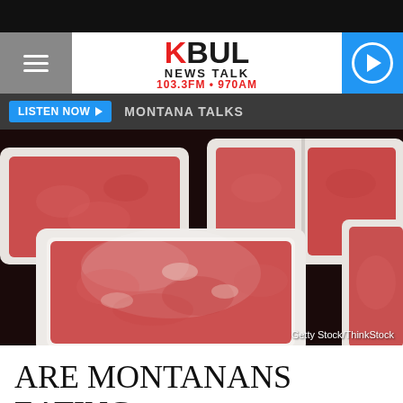[Figure (logo): KBUL News Talk 103.3FM 970AM radio station logo with red K and black BUL text]
LISTEN NOW ▶  MONTANA TALKS
[Figure (photo): Close-up photo of raw ground beef in white styrofoam trays wrapped in plastic, multiple packages visible]
Getty Stock/ThinkStock
ARE MONTANANS EATING